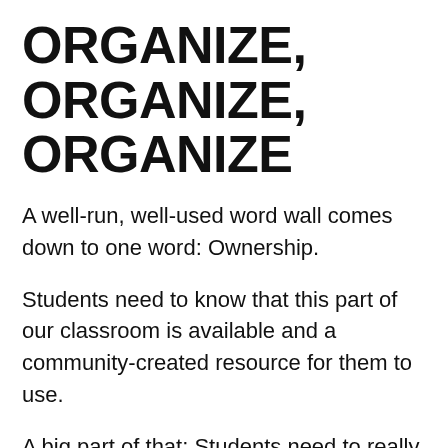ORGANIZE, ORGANIZE, ORGANIZE
A well-run, well-used word wall comes down to one word: Ownership.
Students need to know that this part of our classroom is available and a community-created resource for them to use.
A big part of that: Students need to really understand the organizational system of the words to find the words they need. And the best way to do that is: Let the kids help!